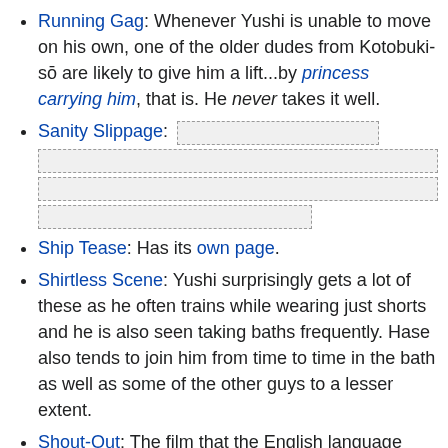Running Gag: Whenever Yushi is unable to move on his own, one of the older dudes from Kotobuki-sō are likely to give him a lift...by princess carrying him, that is. He never takes it well.
Sanity Slippage: [redacted content]
Ship Tease: Has its own page.
Shirtless Scene: Yushi surprisingly gets a lot of these as he often trains while wearing just shorts and he is also seen taking baths frequently. Hase also tends to join him from time to time in the bath as well as some of the other guys to a lesser extent.
Shout-Out: The film that the English language club translates is essentially Dragon Quest I with a different name. It even contains the line "I shall give you half of the world" which the dragon lord says when you confront him